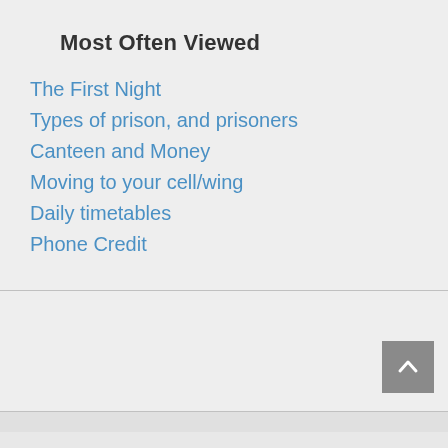Most Often Viewed
The First Night
Types of prison, and prisoners
Canteen and Money
Moving to your cell/wing
Daily timetables
Phone Credit